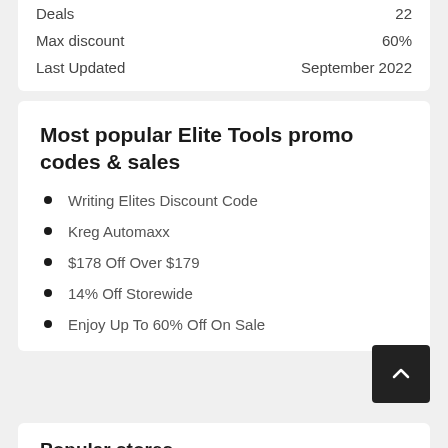| Deals | 22 |
| Max discount | 60% |
| Last Updated | September 2022 |
Most popular Elite Tools promo codes & sales
Writing Elites Discount Code
Kreg Automaxx
$178 Off Over $179
14% Off Storewide
Enjoy Up To 60% Off On Sale
Popular stores
Crerar Hotels Special Of...    Grips4less Sale